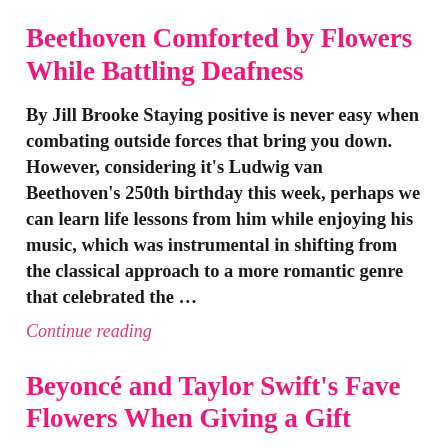Beethoven Comforted by Flowers While Battling Deafness
By Jill Brooke Staying positive is never easy when combating outside forces that bring you down. However, considering it's Ludwig van Beethoven's 250th birthday this week, perhaps we can learn life lessons from him while enjoying his music, which was instrumental in shifting from the classical approach to a more romantic genre that celebrated the …
Continue reading
Beyoncé and Taylor Swift's Fave Flowers When Giving a Gift
By Jill Brooke Once flowers are a constant